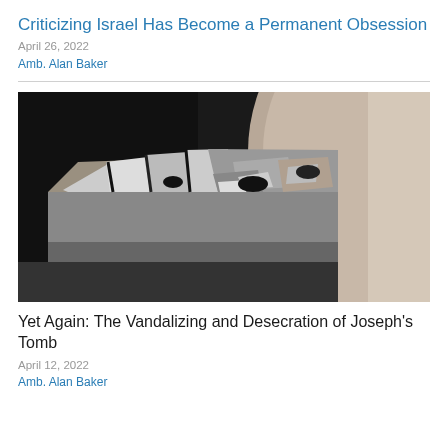Criticizing Israel Has Become a Permanent Obsession
April 26, 2022
Amb. Alan Baker
[Figure (photo): Photograph of Joseph's Tomb showing damaged stone structure with broken concrete slabs and rubble inside a vandalized burial chamber.]
Yet Again: The Vandalizing and Desecration of Joseph's Tomb
April 12, 2022
Amb. Alan Baker